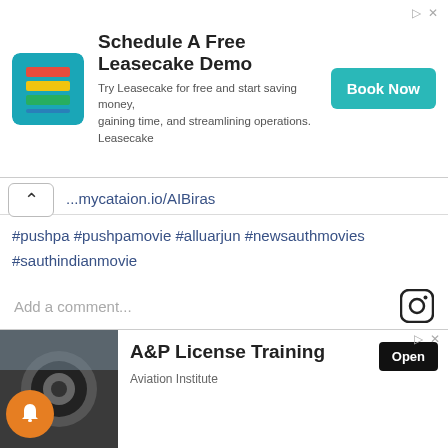[Figure (screenshot): Leasecake advertisement banner with logo, title 'Schedule A Free Leasecake Demo', description text, and 'Book Now' button]
...mycataion.io/AIBiras
#pushpa #pushpamovie #alluarjun #newsauthmovies #sauthindianmovie
Add a comment...
Pushpa Movie for free (Jio & Airtel user)
If you have a sim Jio & Airtel then you can very easily
[Figure (screenshot): A&P License Training advertisement with jet engine image, 'Open' button, and Aviation Institute branding]
Airtel user:- Play Store and download Airtel's official OTT